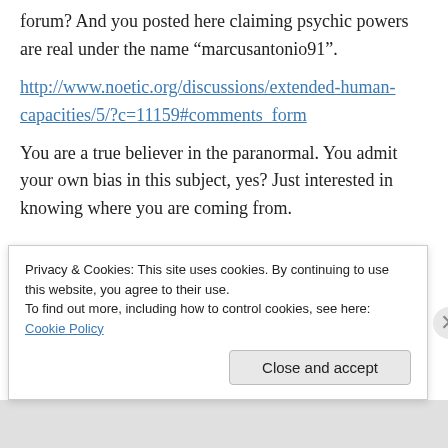forum? And you posted here claiming psychic powers are real under the name “marcusantonio91”.
http://www.noetic.org/discussions/extended-human-capacities/5/?c=11159#comments_form
You are a true believer in the paranormal. You admit your own bias in this subject, yes? Just interested in knowing where you are coming from.
Privacy & Cookies: This site uses cookies. By continuing to use this website, you agree to their use.
To find out more, including how to control cookies, see here: Cookie Policy
Close and accept